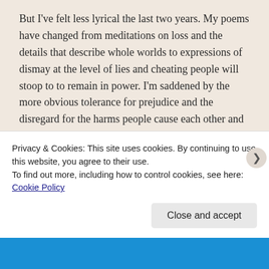But I've felt less lyrical the last two years. My poems have changed from meditations on loss and the details that describe whole worlds to expressions of dismay at the level of lies and cheating people will stoop to to remain in power. I'm saddened by the more obvious tolerance for prejudice and the disregard for the harms people cause each other and feel compelled to speak out. I'm interrogating my own comfort and how to write to challenge myself.
So I'm writing fewer blog posts and hardly any lyrical poems. I'm focused elsewhere. I helped flip the NH
Privacy & Cookies: This site uses cookies. By continuing to use this website, you agree to their use.
To find out more, including how to control cookies, see here: Cookie Policy
Close and accept